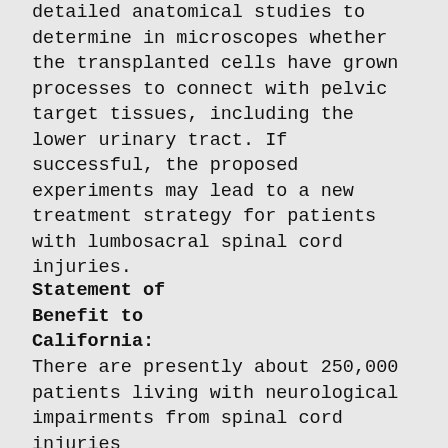detailed anatomical studies to determine in microscopes whether the transplanted cells have grown processes to connect with pelvic target tissues, including the lower urinary tract. If successful, the proposed experiments may lead to a new treatment strategy for patients with lumbosacral spinal cord injuries.
Statement of Benefit to California:
There are presently about 250,000 patients living with neurological impairments from spinal cord injuries (SCIs) in the United States, and approximately 11,000 new cases present every year. SCIs typically result in paralysis, loss of sensation, pain as well as bladder, bowel, and sexual